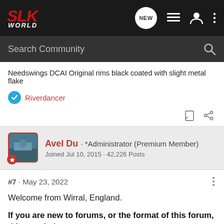SLK WORLD
Search Community
Needswings DCAI Original rims black coated with slight metal flake
Riverdancer
Avel Du · *Administrator (Premium Member)
Joined Jul 10, 2015 · 42,226 Posts
#7 · May 23, 2022
Welcome from Wirral, England.
If you are new to forums, or the format of this forum, this may help.
Are you new and wondering what to do? (Contains